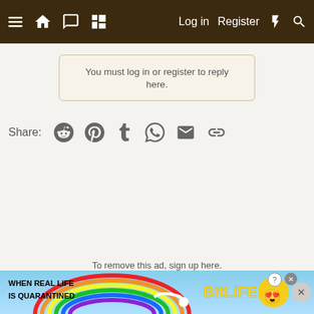Navigation bar with menu, home, chat, grid, Log in, Register, lightning, search icons
You must log in or register to reply here.
Share: [Reddit] [Pinterest] [Tumblr] [WhatsApp] [Email] [Link]
To remove this ad, sign up here.
[Figure (screenshot): BitLife advertisement banner: WHEN REAL LIFE IS QUARANTINED with BitLife logo and emoji characters, rainbow background, close buttons]